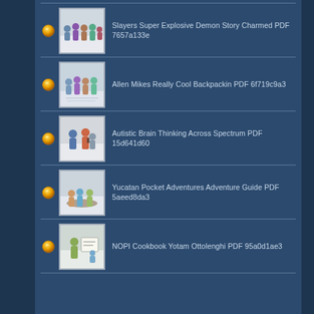Slayers Super Explosive Demon Story Charmed PDF 7657a133e
Allen Mikes Really Cool Backpackin PDF 6f719c9a3
Autistic Brain Thinking Across Spectrum PDF 15d641d60
Yucatan Pocket Adventures Adventure Guide PDF 5aeed8da3
NOPI Cookbook Yotam Ottolenghi PDF 95a0d1ae3